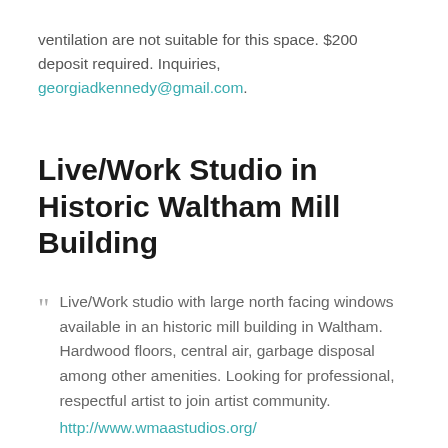ventilation are not suitable for this space. $200 deposit required. Inquiries, georgiadkennedy@gmail.com.
Live/Work Studio in Historic Waltham Mill Building
Live/Work studio with large north facing windows available in an historic mill building in Waltham. Hardwood floors, central air, garbage disposal among other amenities. Looking for professional, respectful artist to join artist community. http://www.wmaastudios.org/